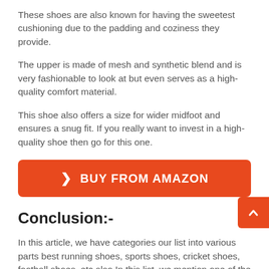These shoes are also known for having the sweetest cushioning due to the padding and coziness they provide.
The upper is made of mesh and synthetic blend and is very fashionable to look at but even serves as a high-quality comfort material.
This shoe also offers a size for wider midfoot and ensures a snug fit. If you really want to invest in a high-quality shoe then go for this one.
[Figure (other): Orange 'BUY FROM AMAZON' button with a right-arrow chevron icon]
Conclusion:-
In this article, we have categories our list into various parts best running shoes, sports shoes, cricket shoes, football shoes, etc also In this list, we mention one of the top leading brand's shoes.
All these shoes have different designs, materials, features, and prices, so we made this list to did intense